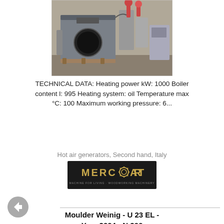[Figure (photo): Industrial hot water boiler / hot air generator in a workshop setting, showing a large grey metal unit with a circular opening, surrounded by pipes and equipment]
TECHNICAL DATA: Heating power kW: 1000 Boiler content l: 995 Heating system: oil Temperature max °C: 100 Maximum working pressure: 6...
Hot air generators, Second hand, Italy
[Figure (logo): Mercator logo — dark background with golden/yellow text 'MERCATOR' and a gear replacing the letter O, with tagline 'MACHINE FOR LIVING · WOODWORKING MACHINERY']
Moulder Weinig - U 23 EL - Year 2004 - N 366